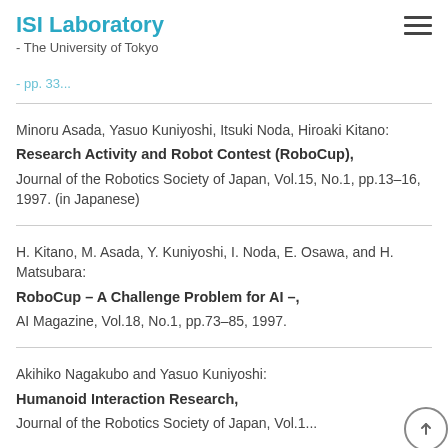ISI Laboratory - The University of Tokyo
...pp. 33...
Minoru Asada, Yasuo Kuniyoshi, Itsuki Noda, Hiroaki Kitano: Research Activity and Robot Contest (RoboCup), Journal of the Robotics Society of Japan, Vol.15, No.1, pp.13–16, 1997. (in Japanese)
H. Kitano, M. Asada, Y. Kuniyoshi, I. Noda, E. Osawa, and H. Matsubara: RoboCup – A Challenge Problem for AI –, AI Magazine, Vol.18, No.1, pp.73–85, 1997.
Akihiko Nagakubo and Yasuo Kuniyoshi: Humanoid Interaction Research, Journal of the Robotics Society of Japan, Vol.1...